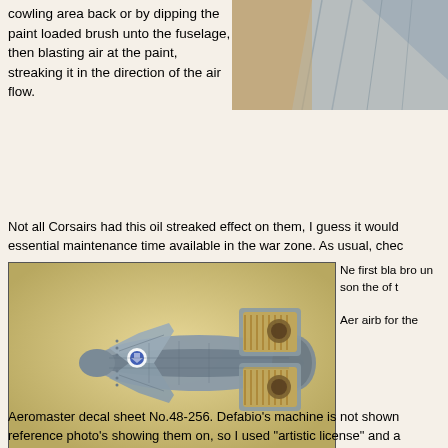cowling area back or by dipping the paint loaded brush unto the fuselage, then blasting air at the paint, streaking it in the direction of the air flow.
[Figure (photo): Close-up photo of model aircraft fuselage detail, blue-grey coloring on tan/cork background]
Not all Corsairs had this oil streaked effect on them, I guess it would essential maintenance time available in the war zone. As usual, chec
[Figure (photo): Top-down view of a Corsair aircraft scale model painted in blue-grey, showing wing and engine detail on tan background]
Ne first bla bro un son the of t Aer airb for the
Aeromaster decal sheet No.48-256. Defabio's machine is not shown reference photo's showing them on, so I used "artistic license" and a